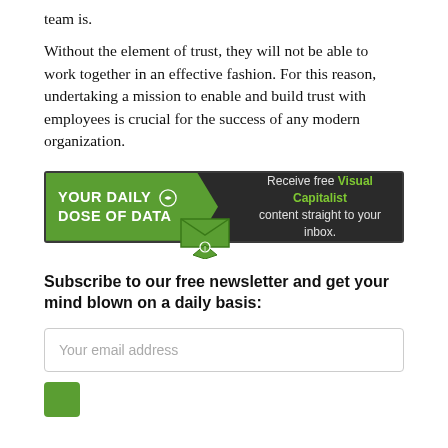It doesn't matter how smart or experienced your team is.
Without the element of trust, they will not be able to work together in an effective fashion. For this reason, undertaking a mission to enable and build trust with employees is crucial for the success of any modern organization.
[Figure (infographic): Dark banner advertisement for Visual Capitalist newsletter. Left green section reads 'YOUR DAILY DOSE OF DATA' with icon. Right dark section reads 'Receive free Visual Capitalist content straight to your inbox.' with envelope icon pointing down.]
Subscribe to our free newsletter and get your mind blown on a daily basis:
Your email address